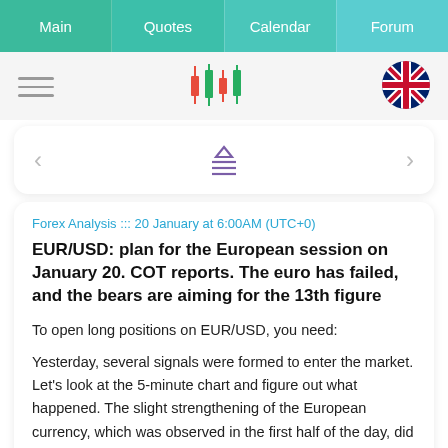Main | Quotes | Calendar | Forum
[Figure (logo): Candlestick chart logo with red and green candles]
[Figure (illustration): UK flag circle icon]
[Figure (infographic): Navigation card with left arrow, menu/filter icon, right arrow]
Forex Analysis ::: 20 January at 6:00AM (UTC+0)
EUR/USD: plan for the European session on January 20. COT reports. The euro has failed, and the bears are aiming for the 13th figure
To open long positions on EUR/USD, you need:
Yesterday, several signals were formed to enter the market. Let's look at the 5-minute chart and figure out what happened. The slight strengthening of the European currency, which was observed in the first half of the day, did not lead to an update of the levels